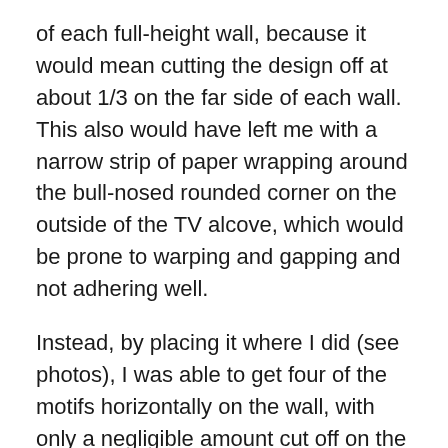of each full-height wall, because it would mean cutting the design off at about 1/3 on the far side of each wall. This also would have left me with a narrow strip of paper wrapping around the bull-nosed rounded corner on the outside of the TV alcove, which would be prone to warping and gapping and not adhering well.
Instead, by placing it where I did (see photos), I was able to get four of the motifs horizontally on the wall, with only a negligible amount cut off on the far side. It also gave me a nice-sized strip to wrap around into the inner sides of the TV alcove, which would give a good edge for the next strip to butt up against.
I treated the back wall of the TV alcove as a separate wall, not trying to match the pattern to the design that was on the wrapped walls of the alcove. By centering the motif, I